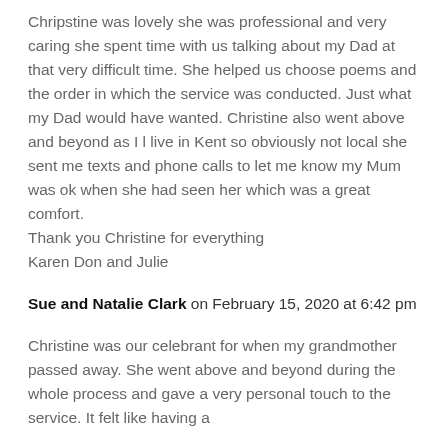Chripstine was lovely she was professional and very caring she spent time with us talking about my Dad at that very difficult time. She helped us choose poems and the order in which the service was conducted. Just what my Dad would have wanted. Christine also went above and beyond as I l live in Kent so obviously not local she sent me texts and phone calls to let me know my Mum was ok when she had seen her which was a great comfort. Thank you Christine for everything Karen Don and Julie
Sue and Natalie Clark on February 15, 2020 at 6:42 pm
Christine was our celebrant for when my grandmother passed away. She went above and beyond during the whole process and gave a very personal touch to the service. It felt like having a